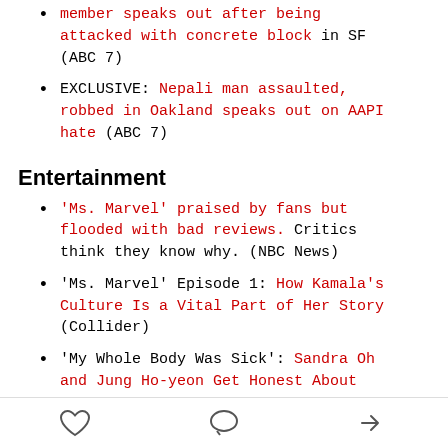member speaks out after being attacked with concrete block in SF (ABC 7)
EXCLUSIVE: Nepali man assaulted, robbed in Oakland speaks out on AAPI hate (ABC 7)
Entertainment
'Ms. Marvel' praised by fans but flooded with bad reviews. Critics think they know why. (NBC News)
'Ms. Marvel' Episode 1: How Kamala's Culture Is a Vital Part of Her Story (Collider)
'My Whole Body Was Sick': Sandra Oh and Jung Ho-yeon Get Honest About